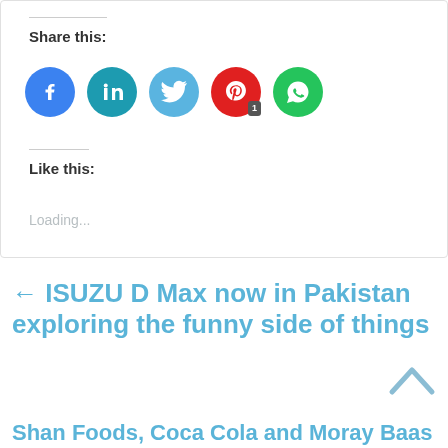Share this:
[Figure (infographic): Row of five social media icon circles: Facebook (blue), LinkedIn (teal), Twitter (light blue), Pinterest (red) with badge '1', WhatsApp (green)]
Like this:
Loading...
← ISUZU D Max now in Pakistan exploring the funny side of things
Shan Foods, Coca Cola and Moray Bas Tum Ho